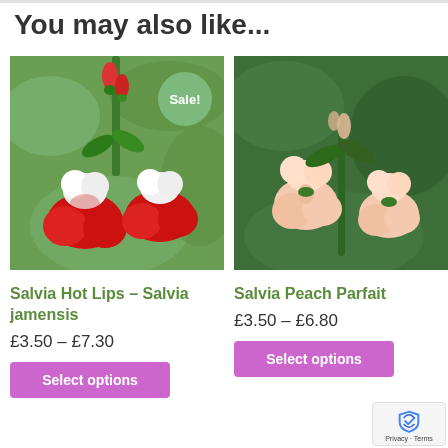You may also like...
[Figure (photo): Salvia Hot Lips flower — red and white blooms on green stem, with 'Sale!' badge overlay]
[Figure (photo): Salvia Peach Parfait flower — pale pink blooms on green stem, green foliage background]
Salvia Hot Lips – Salvia jamensis
£3.50 – £7.30
Select options
Salvia Peach Parfait
£3.50 – £6.80
Select options